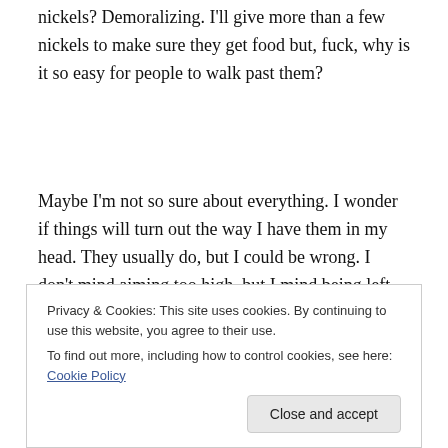nickels? Demoralizing. I'll give more than a few nickels to make sure they get food but, fuck, why is it so easy for people to walk past them?
Maybe I'm not so sure about everything. I wonder if things will turn out the way I have them in my head. They usually do, but I could be wrong. I don't mind aiming too high, but I mind being left with nothing. Know what I'm saying? Then again, I'm pretty lucky. I shouldn't let skyscrapers get in the way of clear vision.
Maybe I want to stay home and work in my jammies. I
Privacy & Cookies: This site uses cookies. By continuing to use this website, you agree to their use.
To find out more, including how to control cookies, see here: Cookie Policy
Close and accept